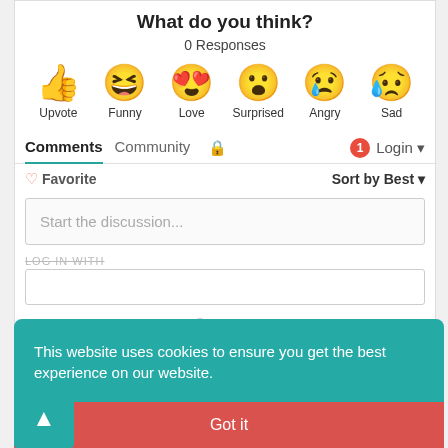What do you think?
0 Responses
[Figure (infographic): Six reaction emoji icons in a row: thumbs up (Upvote), laughing face with tongue (Funny), heart-eyes face (Love), surprised/wow face (Surprised), crying-angry face (Angry), sad face with tear (Sad)]
Comments   Community   🔒   1   Login ▾
♡ Favorite   Sort by Best ▾
Start the discussion...
LOG IN WITH
This website uses cookies to ensure you get the best experience on our website.
Got it